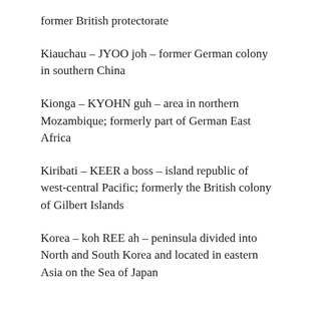former British protectorate
Kiauchau – JYOO joh – former German colony in southern China
Kionga – KYOHN guh – area in northern Mozambique; formerly part of German East Africa
Kiribati – KEER a boss – island republic of west-central Pacific; formerly the British colony of Gilbert Islands
Korea – koh REE ah – peninsula divided into North and South Korea and located in eastern Asia on the Sea of Japan